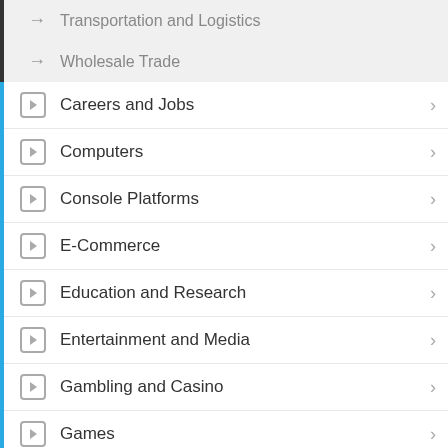Transportation and Logistics
Wholesale Trade
Careers and Jobs
Computers
Console Platforms
E-Commerce
Education and Research
Entertainment and Media
Gambling and Casino
Games
Government, Law and Politics
Health and Fitness
Home and Family